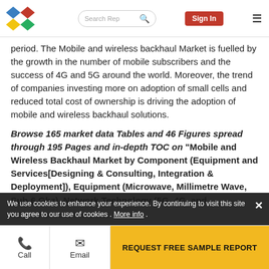Search Rep | Sign In
period. The Mobile and wireless backhaul Market is fuelled by the growth in the number of mobile subscribers and the success of 4G and 5G around the world. Moreover, the trend of companies investing more on adoption of small cells and reduced total cost of ownership is driving the adoption of mobile and wireless backhaul solutions.
Browse 165 market data Tables and 46 Figures spread through 195 Pages and in-depth TOC on "Mobile and Wireless Backhaul Market by Component (Equipment and Services[Designing & Consulting, Integration & Deployment]), Equipment (Microwave, Millimetre Wave, Sub-6 Ghz), Network Technology (5G, 4G, and ... Forecast to 2025
We use cookies to enhance your experience. By continuing to visit this site you agree to our use of cookies . More info .
Call | Email | REQUEST FREE SAMPLE REPORT